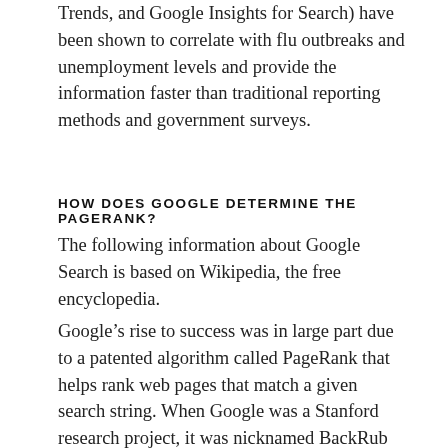Trends, and Google Insights for Search) have been shown to correlate with flu outbreaks and unemployment levels and provide the information faster than traditional reporting methods and government surveys.
HOW DOES GOOGLE DETERMINE THE PAGERANK?
The following information about Google Search is based on Wikipedia, the free encyclopedia.
Google’s rise to success was in large part due to a patented algorithm called PageRank that helps rank web pages that match a given search string. When Google was a Stanford research project, it was nicknamed BackRub because the technology checks backlinks to determine a site’s importance. Previous keyword-based methods of ranking search results, used by many search engines that were once more